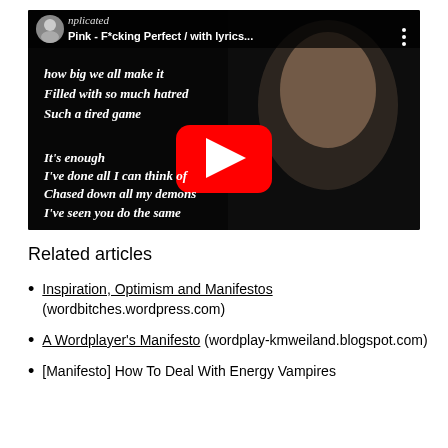[Figure (screenshot): YouTube video thumbnail for 'Pink - F*cking Perfect / with lyrics...' showing a woman's face with italic white script lyrics text: 'how big we all make it / Filled with so much hatred / Such a tired game / It's enough / I've done all I can think of / Chased down all my demons / I've seen you do the same'. A red YouTube play button is overlaid in the center. Top-left shows a circular avatar thumbnail and video title bar.]
Related articles
Inspiration, Optimism and Manifestos (wordbitches.wordpress.com)
A Wordplayer's Manifesto (wordplay-kmweiland.blogspot.com)
[Manifesto] How To Deal With Energy Vampires